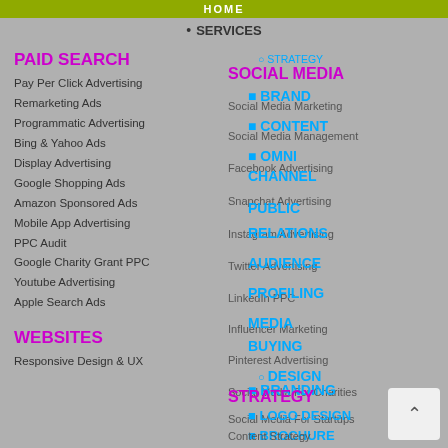HOME
SERVICES
PAID SEARCH
Pay Per Click Advertising
Remarketing Ads
Programmatic Advertising
Bing & Yahoo Ads
Display Advertising
Google Shopping Ads
Amazon Sponsored Ads
Mobile App Advertising
PPC Audit
Google Charity Grant PPC
Youtube Advertising
Apple Search Ads
WEBSITES
Responsive Design & UX
SOCIAL MEDIA
STRATEGY
Social Media Marketing
BRAND
CONTENT
Social Media Management
OMNI
Facebook Advertising
CHANNEL
Snapchat Advertising
PUBLIC
Instagram Advertising
RELATIONS
Twitter Advertising
AUDIENCE
LinkedIn PPC
PROFILING
Influencer Marketing
MEDIA
BUYING
Pinterest Advertising
DESIGN
Social Media For Charities
BRANDING
Social Media For Startups
LOGO DESIGN
BROCHURE
PACKAGING
STRATEGY
Content Strategy
GRAPHIC
PPC SEARCH